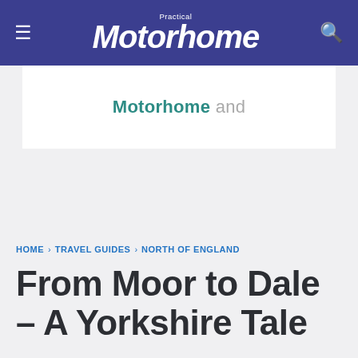Practical Motorhome
[Figure (other): Advertisement banner with text 'Motorhome and']
HOME › TRAVEL GUIDES › NORTH OF ENGLAND
From Moor to Dale – A Yorkshire Tale